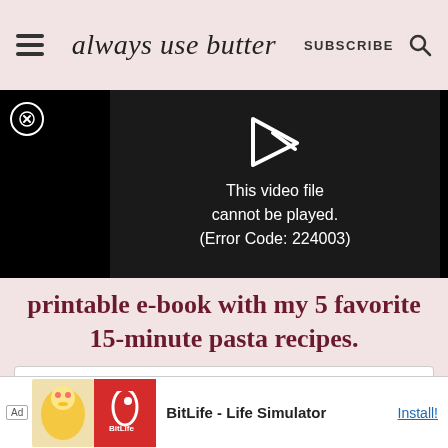always use butter | SUBSCRIBE
[Figure (screenshot): Video player showing error: This video file cannot be played. (Error Code: 224003)]
printable e-book with my 5 favorite 15-minute pasta recipes.
First Name
[Figure (screenshot): Ad banner: BitLife - Life Simulator. Install!]